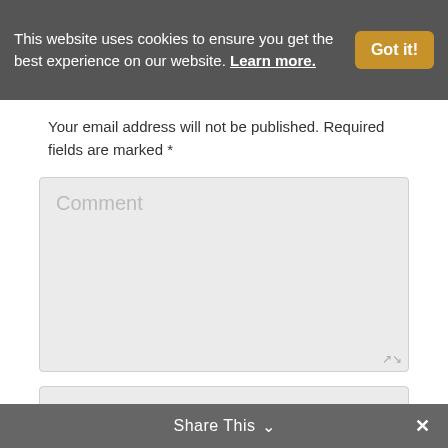This website uses cookies to ensure you get the best experience on our website. Learn more.
Your email address will not be published. Required fields are marked *
Comment
Name *
Email *
Share This ∨ ✕